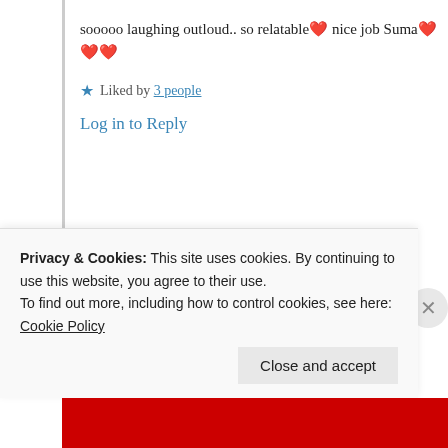sooooo laughing outloud.. so relatable❤️ nice job Suma❤️❤️❤️
★ Liked by 3 people
Log in to Reply
Suma Reddy
7th Jul 2021 at 2:16 am
Privacy & Cookies: This site uses cookies. By continuing to use this website, you agree to their use.
To find out more, including how to control cookies, see here: Cookie Policy
Close and accept